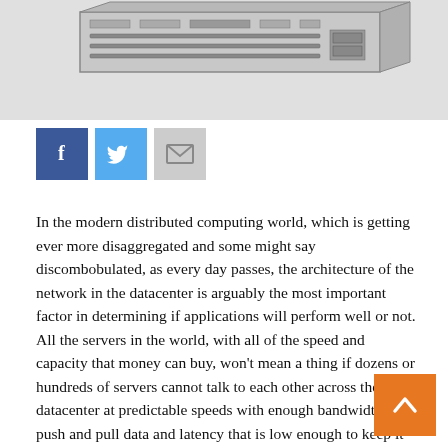[Figure (photo): Partial image of server/networking hardware equipment at the top of the page, showing a rack-mounted device, on a light gray background.]
[Figure (infographic): Social sharing buttons: Facebook (blue), Twitter (light blue), and Email/envelope (gray).]
In the modern distributed computing world, which is getting ever more disaggregated and some might say discombobulated, as every day passes, the architecture of the network in the datacenter is arguably the most important factor in determining if applications will perform well or not. All the servers in the world, with all of the speed and capacity that money can buy, won't mean a thing if dozens or hundreds of servers cannot talk to each other across the datacenter at predictable speeds with enough bandwidth to push and pull data and latency that is low enough to keep it all in balance.